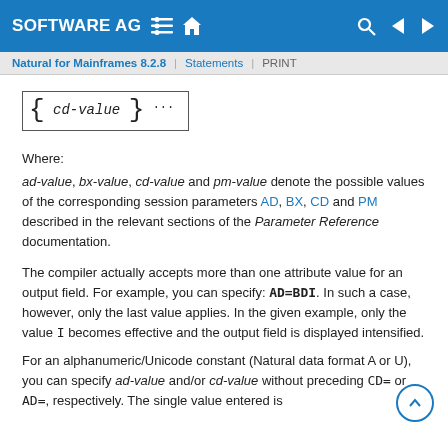SOFTWARE AG | Natural for Mainframes 8.2.8 | Statements | PRINT
Where:
ad-value, bx-value, cd-value and pm-value denote the possible values of the corresponding session parameters AD, BX, CD and PM described in the relevant sections of the Parameter Reference documentation.
The compiler actually accepts more than one attribute value for an output field. For example, you can specify: AD=BDI. In such a case, however, only the last value applies. In the given example, only the value I becomes effective and the output field is displayed intensified.
For an alphanumeric/Unicode constant (Natural data format A or U), you can specify ad-value and/or cd-value without preceding CD= or AD=, respectively. The single value entered is